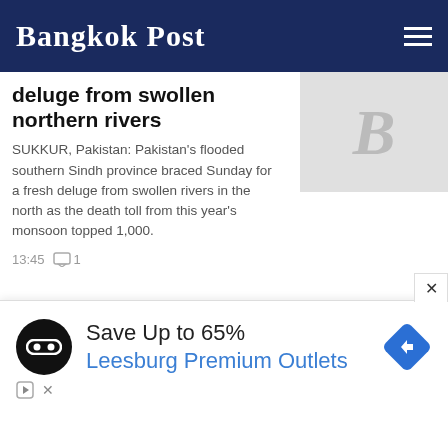Bangkok Post
deluge from swollen northern rivers
SUKKUR, Pakistan: Pakistan's flooded southern Sindh province braced Sunday for a fresh deluge from swollen rivers in the north as the death toll from this year's monsoon topped 1,000.
13:45  ◻ 1
WORLD
US warships transit Taiwan Strait, first since Pelosi visit
UPDATE
[Figure (infographic): Advertisement: Save Up to 65% Leesburg Premium Outlets]